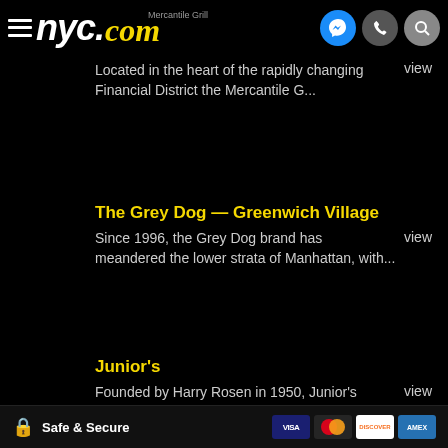nyc.com — Mercantile Grill header with navigation icons
Located in the heart of the rapidly changing Financial District the Mercantile G...
The Grey Dog — Greenwich Village
Since 1996, the Grey Dog brand has meandered the lower strata of Manhattan, with...
Junior's
Founded by Harry Rosen in 1950, Junior's landmark restaurant is known as the hom...
Safe & Secure — Visa, Mastercard, Discover, Amex